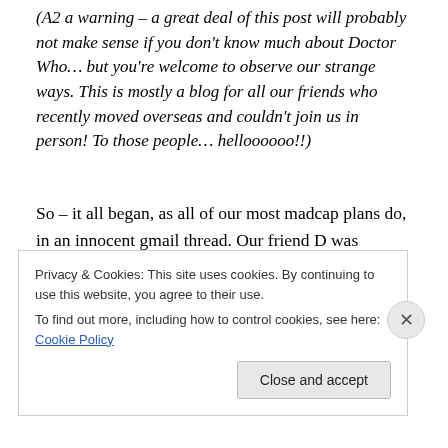(A2 a warning – a great deal of this post will probably not make sense if you don't know much about Doctor Who… but you're welcome to observe our strange ways. This is mostly a blog for all our friends who recently moved overseas and couldn't join us in person! To those people… helloooooo!!)
So – it all began, as all of our most madcap plans do, in an innocent gmail thread. Our friend D was turning 30 in November and his amazing wife A & our friend F came up with the brilliant plan to throw him the most nerdtastic surprise party ever! A Doctor Who theme was settled
Privacy & Cookies: This site uses cookies. By continuing to use this website, you agree to their use.
To find out more, including how to control cookies, see here: Cookie Policy